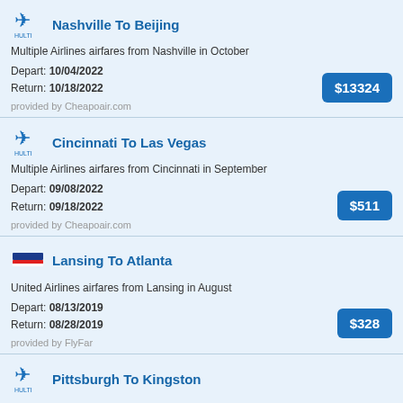Nashville To Beijing
Multiple Airlines airfares from Nashville in October
Depart: 10/04/2022
Return: 10/18/2022
$13324
provided by Cheapoair.com
Cincinnati To Las Vegas
Multiple Airlines airfares from Cincinnati in September
Depart: 09/08/2022
Return: 09/18/2022
$511
provided by Cheapoair.com
Lansing To Atlanta
United Airlines airfares from Lansing in August
Depart: 08/13/2019
Return: 08/28/2019
$328
provided by FlyFar
Pittsburgh To Kingston